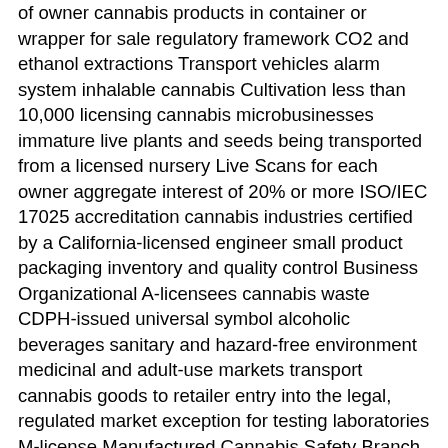of owner cannabis products in container or wrapper for sale regulatory framework CO2 and ethanol extractions Transport vehicles alarm system inhalable cannabis Cultivation less than 10,000 licensing cannabis microbusinesses immature live plants and seeds being transported from a licensed nursery Live Scans for each owner aggregate interest of 20% or more ISO/IEC 17025 accreditation cannabis industries certified by a California-licensed engineer small product packaging inventory and quality control Business Organizational A-licensees cannabis waste CDPH-issued universal symbol alcoholic beverages sanitary and hazard-free environment medicinal and adult-use markets transport cannabis goods to retailer entry into the legal, regulated market exception for testing laboratories M-license Manufactured Cannabis Safety Branch (MCSB) transportation of cannabis goods California Department of Public Health (CDPH) microbusinesses local jurisdiction authorization Proposition 65 public health and safety license review process scaled to the gross annual revenue of the licensed premises emergency regulations mandated warning statements conducting quality assurance review Licensee Lookup Tool Medical Cannabis Regulation and Safety Act of 2015 Mycotoxins